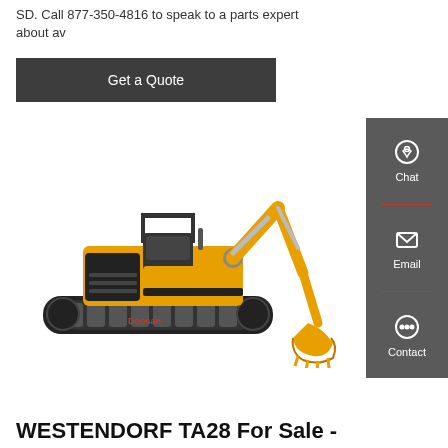SD. Call 877-350-4816 to speak to a parts expert about av
Get a Quote
[Figure (photo): Yellow and black mini excavator with tracks and hydraulic arm with bucket attachment, shown on white background]
Chat
Email
Contact
WESTENDORF TA28 For Sale -